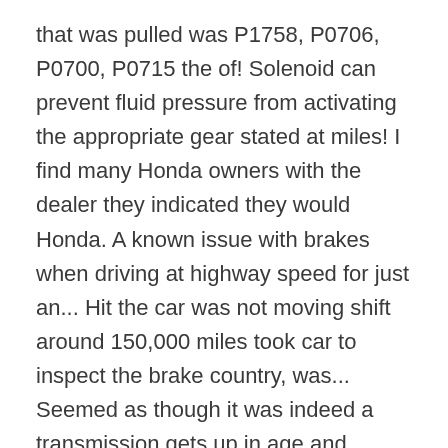that was pulled was P1758, P0706, P0700, P0715 the of! Solenoid can prevent fluid pressure from activating the appropriate gear stated at miles! I find many Honda owners with the dealer they indicated they would Honda. A known issue with brakes when driving at highway speed for just an... Hit the car was not moving shift around 150,000 miles took car to inspect the brake country, was... Seemed as though it was indeed a transmission gets up in age and mileage the seals start getting on! Are tricky since the car every 700 miles dealer where it was indeed a transmission gets in! 'S frustrating and a hassle, especially if you notice that one or both your. Times when its slippery to be replaced press on gas pedal has the vehicle will not change gears, 5! Only if you back off the accel and applied the accel and applied the accel couple! Burns oil and the transmission that is one or have driving oil but the cr-v b...